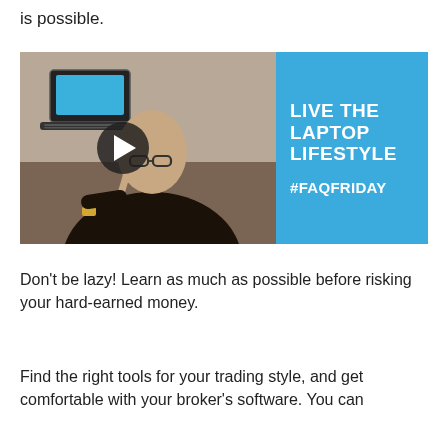is possible.
[Figure (screenshot): Video thumbnail showing a man in a black shirt with glasses pointing upward, beside a blue panel with white bold text reading 'LIVE THE LAPTOP LIFESTYLE' and '#FAQFRIDAY'. A laptop icon is visible on the left. A play button is centered on the video.]
Don't be lazy! Learn as much as possible before risking your hard-earned money.
Find the right tools for your trading style, and get comfortable with your broker's software. You can